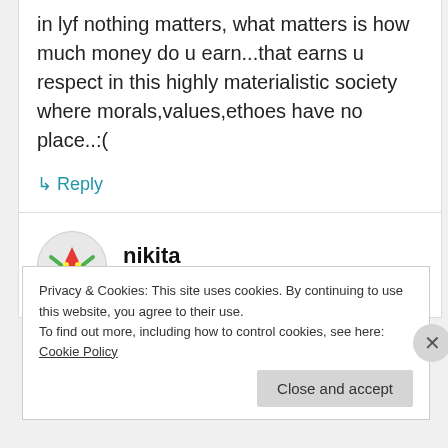in lyf nothing matters, what matters is how much money do u earn...that earns u respect in this highly materialistic society where morals,values,ethoes have no place..:(
↳ Reply
nikita
September 2, 2012 at 4:00 pm
Privacy & Cookies: This site uses cookies. By continuing to use this website, you agree to their use.
To find out more, including how to control cookies, see here: Cookie Policy
Close and accept